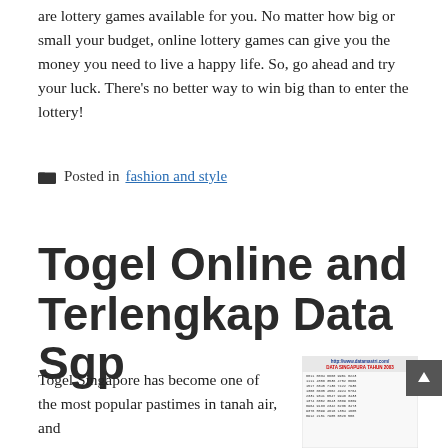are lottery games available for you. No matter how big or small your budget, online lottery games can give you the money you need to live a happy life. So, go ahead and try your luck. There's no better way to win big than to enter the lottery!
Posted in fashion and style
Togel Online and Terlengkap Data Sgp
Togel Singapore has become one of the most popular pastimes in tanah air, and
[Figure (table-as-image): Data SGP table image showing a lottery results table from datamastri.com with columns of numbers for Singapore lottery year data]